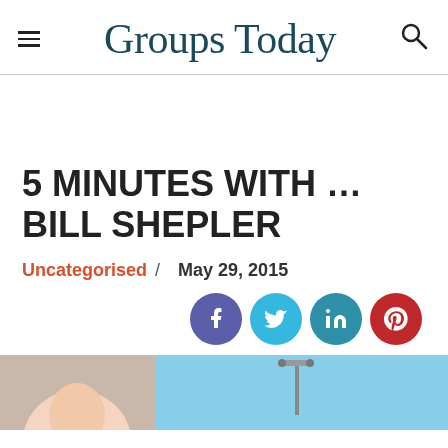Groups Today
5 MINUTES WITH … BILL SHEPLER
Uncategorised / May 29, 2015
[Figure (screenshot): Social media share buttons: Facebook (purple), Twitter (light blue), LinkedIn (teal), Pinterest (red)]
[Figure (photo): Bottom portion of page showing two partial images side by side: left shows person's head, right shows a street lamp against blue sky]